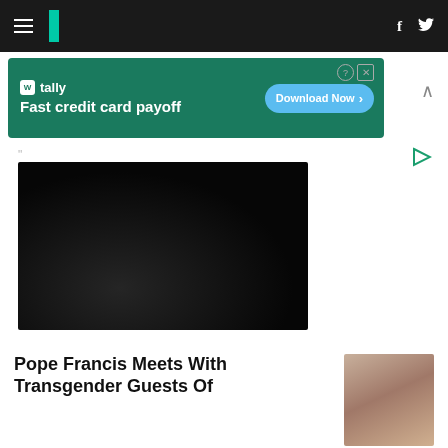HuffPost navigation header with hamburger menu, logo, Facebook and Twitter icons
[Figure (other): Tally advertisement banner: Fast credit card payoff, Download Now button]
[Figure (photo): Very dark photo showing silhouettes of people in low light]
Pope Francis Meets With Transgender Guests Of